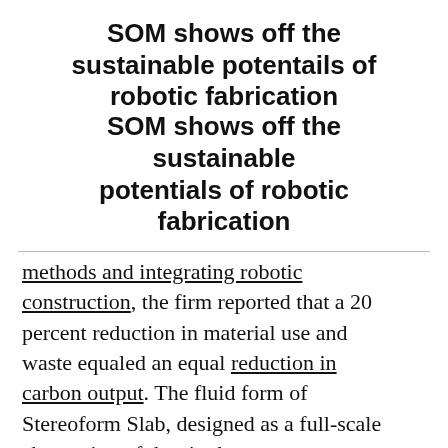SOM shows off the sustainable potentials of robotic fabrication
methods and integrating robotic construction, the firm reported that a 20 percent reduction in material use and waste equaled an equal reduction in carbon output. The fluid form of Stereoform Slab, designed as a full-scale abstraction of the single-story concrete bays you might find in a high-rise, was built in partnership with McHugh Construction, the developer Sterling Bay, Denmark-based Odico Construction Robotics, and Autodesk.